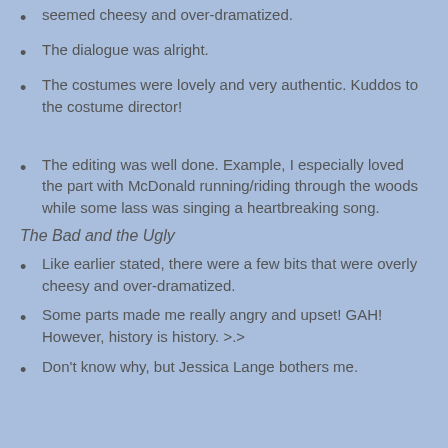seemed cheesy and over-dramatized.
The dialogue was alright.
The costumes were lovely and very authentic. Kuddos to the costume director!
The editing was well done. Example, I especially loved the part with McDonald running/riding through the woods while some lass was singing a heartbreaking song.
The Bad and the Ugly
Like earlier stated, there were a few bits that were overly cheesy and over-dramatized.
Some parts made me really angry and upset! GAH! However, history is history. >.>
Don't know why, but Jessica Lange bothers me.